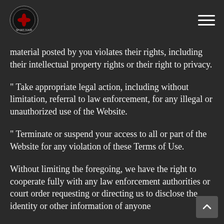[Logo] [Navigation menu]
material posted by you violates their rights, including their intellectual property rights or their right to privacy.
" Take appropriate legal action, including without limitation, referral to law enforcement, for any illegal or unauthorized use of the Website.
" Terminate or suspend your access to all or part of the Website for any violation of these Terms of Use.
Without limiting the foregoing, we have the right to cooperate fully with any law enforcement authorities or court order requesting or directing us to disclose the identity or other information of anyone